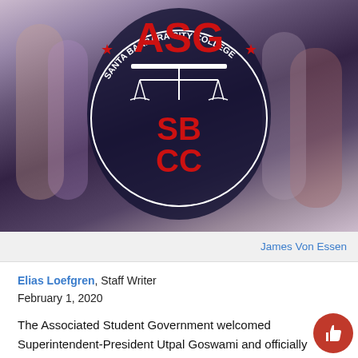[Figure (photo): ASG Santa Barbara City College logo overlaid on a group photo of students. The logo shows a balance scale, 'ASG' in large red letters, 'SBCC' in red letters, and circular text reading 'SANTA BARBARA CITY COLLEGE'.]
James Von Essen
Elias Loefgren, Staff Writer
February 1, 2020
The Associated Student Government welcomed Superintendent-President Utpal Goswami and officially approved the new Accessibility Advocate officer position during its meeting on Friday.
Goswami formally introduced himself to the senate and offered members the chance to ask him questions about